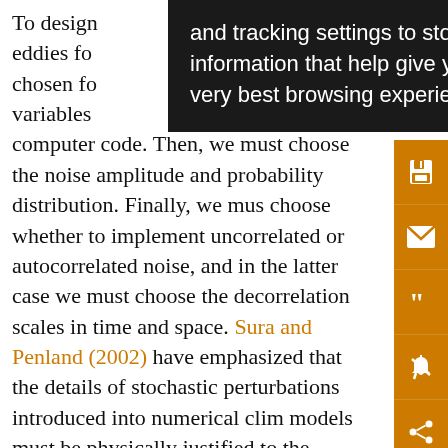To design [ocean eddies for] [be chosen fo] variables [the] computer code. Then, we must choose the noise amplitude and probability distribution. Finally, we must choose whether to implement uncorrelated or autocorrelated noise, and in the latter case we must choose the decorrelation scales in time and space. Sura and Penland (2002) have emphasized that the details of stochastic perturbations introduced into numerical clim[ate] models must be physically justified to the fullest extent possible. To this end, high-resolution models may be regarded as truth and used to inform the choice of noise characteristics (Shutts and Palmer 2007).
[Figure (screenshot): Browser tooltip/popup overlay with dark background showing text: 'and tracking settings to store information that help give you the very best browsing experience.' with an orange sidebar on the right containing save, email, quote, alert, and share icons.]